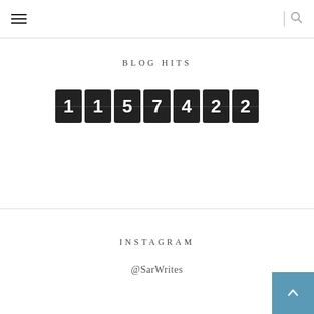≡ | 🔍
BLOG HITS
[Figure (other): Digital counter showing 7 digit tiles with numbers 1, 1, 5, 7, 4, 2, 2 on dark square tiles]
INSTAGRAM
@SarWrites